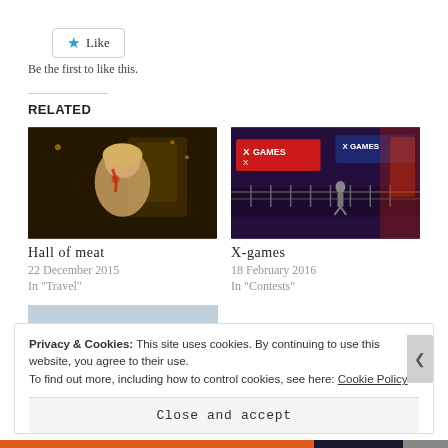[Figure (other): Like button with star icon]
Be the first to like this.
RELATED
[Figure (photo): Hall of meat - woman with face paint at night]
Hall of meat
22 December 2015
In "Travel"
[Figure (photo): X-games - skateboarder at X Games venue with neon signs]
X-games
18 February 2016
In "Contests"
[Figure (photo): Partially visible third related article thumbnail]
Privacy & Cookies: This site uses cookies. By continuing to use this website, you agree to their use.
To find out more, including how to control cookies, see here: Cookie Policy
Close and accept